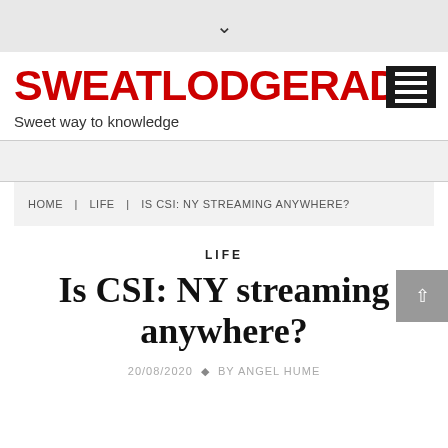↓
SWEATLODGERADIO.C
Sweet way to knowledge
HOME | LIFE | IS CSI: NY STREAMING ANYWHERE?
LIFE
Is CSI: NY streaming anywhere?
20/08/2020 ◆ BY ANGEL HUME